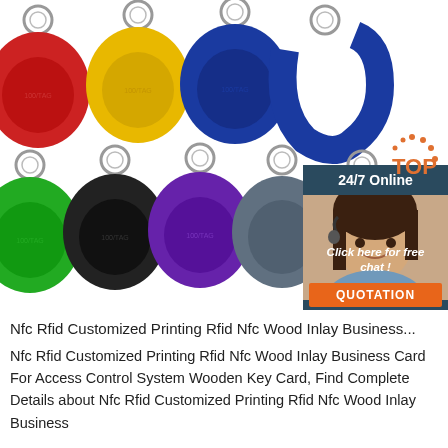[Figure (photo): Product photo showing 9 colorful RFID/NFC keyfob tags in red, yellow, blue, blue (partial), green, black, purple, gray, and pink, arranged in two rows with metal key rings, on a white background. A customer service chat widget is overlaid on the right side showing a smiling female agent with headset, text '24/7 Online', 'Click here for free chat!', and an orange 'QUOTATION' button. A decorative 'TOP' logo appears in the lower right corner of the image area.]
Nfc Rfid Customized Printing Rfid Nfc Wood Inlay Business...
Nfc Rfid Customized Printing Rfid Nfc Wood Inlay Business Card For Access Control System Wooden Key Card, Find Complete Details about Nfc Rfid Customized Printing Rfid Nfc Wood Inlay Business